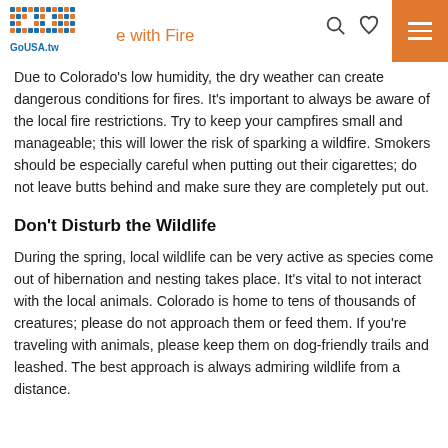e with Fire — GoUSA.tw
Due to Colorado's low humidity, the dry weather can create dangerous conditions for fires. It's important to always be aware of the local fire restrictions. Try to keep your campfires small and manageable; this will lower the risk of sparking a wildfire. Smokers should be especially careful when putting out their cigarettes; do not leave butts behind and make sure they are completely put out.
Don't Disturb the Wildlife
During the spring, local wildlife can be very active as species come out of hibernation and nesting takes place. It's vital to not interact with the local animals. Colorado is home to tens of thousands of creatures; please do not approach them or feed them. If you're traveling with animals, please keep them on dog-friendly trails and leashed. The best approach is always admiring wildlife from a distance.